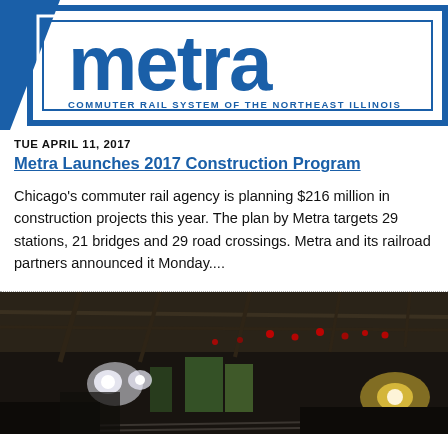[Figure (logo): Metra commuter rail agency logo — large blue stylized 'Metra' text with diagonal slash and rectangular border frame]
TUE APRIL 11, 2017
Metra Launches 2017 Construction Program
Chicago's commuter rail agency is planning $216 million in construction projects this year. The plan by Metra targets 29 stations, 21 bridges and 29 road crossings. Metra and its railroad partners announced it Monday....
[Figure (photo): Dark nighttime photo of a train yard or rail tunnel interior with bright headlights from a locomotive and red signal lights visible in the background]